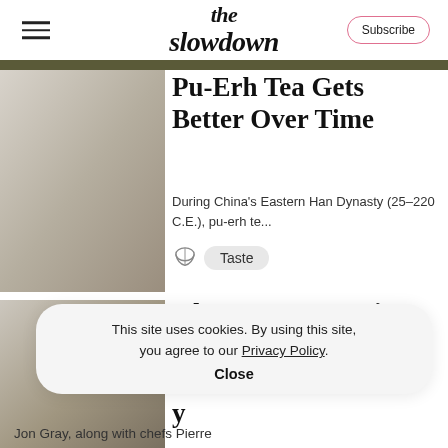the slowdown | Subscribe
Pu-Erh Tea Gets Better Over Time
During China's Eastern Han Dynasty (25–220 C.E.), pu-erh te...
Taste
Ghetto Gastro Brings Its Food- ... of ... y
This site uses cookies. By using this site, you agree to our Privacy Policy. Close
Jon Gray, along with chefs Pierre